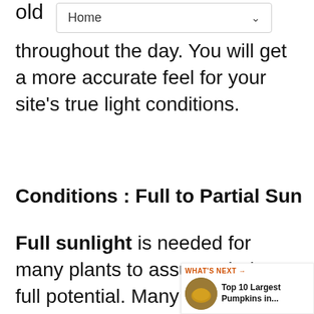old
Home
throughout the day. You will get a more accurate feel for your site's true light conditions.
Conditions : Full to Partial Sun
Full sunlight is needed for many plants to assume their full potential. Many of these plants will do fine with a little less sunlight, although they may not flower as heavily or their foliage as vibrant. Areas on the southern and western sides of buildings usually are the sunniest. The only exception is when houses or buildings are so close together, shadows are cast from neighboring properties. Full sun
[Figure (other): Heart/favorite button overlay (teal circle with heart icon) and share button (grey circle with share icon)]
[Figure (other): WHAT'S NEXT panel with thumbnail image and text: Top 10 Largest Pumpkins in...]